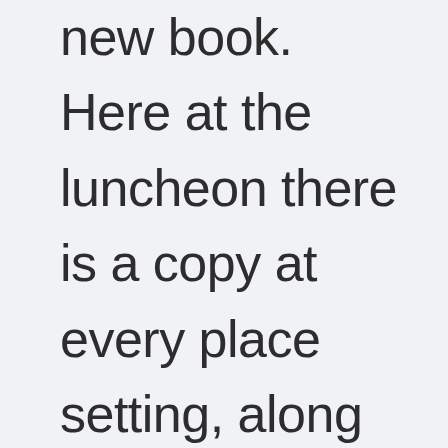new book. Here at the luncheon there is a copy at every place setting, along with a copy of